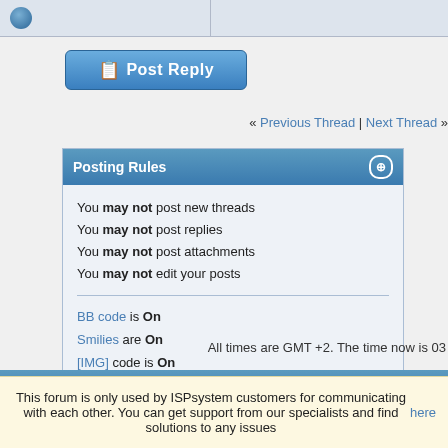[Figure (screenshot): Top navigation bar with user avatar icon on left side]
[Figure (screenshot): Post Reply button with icon]
« Previous Thread | Next Thread »
Posting Rules
You may not post new threads
You may not post replies
You may not post attachments
You may not edit your posts
BB code is On
Smilies are On
[IMG] code is On
HTML code is Off
Forum Rules
All times are GMT +2. The time now is 03
This forum is only used by ISPsystem customers for communicating with each other. You can get support from our specialists and find solutions to any issues here